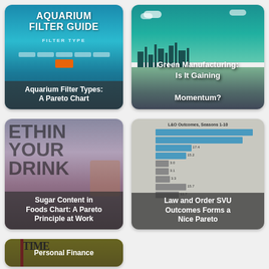[Figure (infographic): Aquarium Filter Types: A Pareto Chart – teal/blue background with filter type bars]
Aquarium Filter Types: A Pareto Chart
[Figure (illustration): Green Manufacturing: Is It Gaining Momentum? – illustrated city with factories and green landscape]
Green Manufacturing: Is It Gaining Momentum?
[Figure (photo): Sugar Content in Foods Chart: A Pareto Principle at Work – newspaper/packaging background]
Sugar Content in Foods Chart: A Pareto Principle at Work
[Figure (bar-chart): Law and Order SVU Outcomes Forms a Nice Pareto – horizontal bar chart, L&O Outcomes Seasons 1-10]
Law and Order SVU Outcomes Forms a Nice Pareto
[Figure (photo): Personal Finance – TIME magazine Special Money Issue cover with 'What We Spend']
Personal Finance